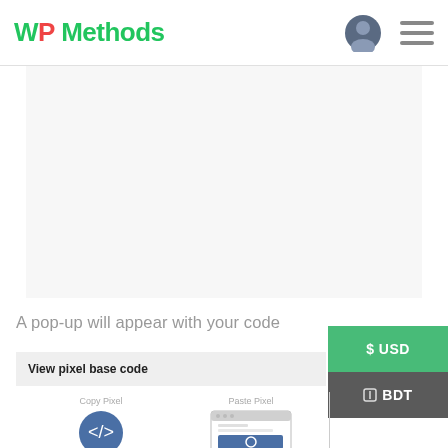WP Methods
[Figure (screenshot): Website screenshot showing WP Methods logo with navigation icons (user profile avatar and hamburger menu)]
A pop-up will appear with your code
View pixel base code
[Figure (illustration): Copy Pixel icon (blue circle with code brackets) and Paste Pixel browser window mockup illustration]
[Figure (infographic): $ USD and BDT currency selection buttons on right side panel]